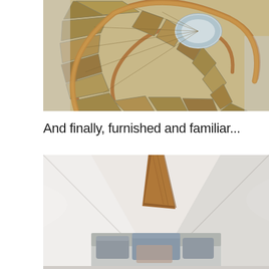[Figure (photo): Aerial/top-down view of a spiral wooden staircase with a copper/bronze curved handrail, showing wooden treads radiating outward in a spiral pattern, viewed from above.]
And finally, furnished and familiar...
[Figure (photo): Interior photo of a whitewashed vaulted room with a large exposed wooden beam running diagonally from ceiling, and a daybed or seating area with grey/blue cushions and pillows arranged below the vaulted ceiling.]